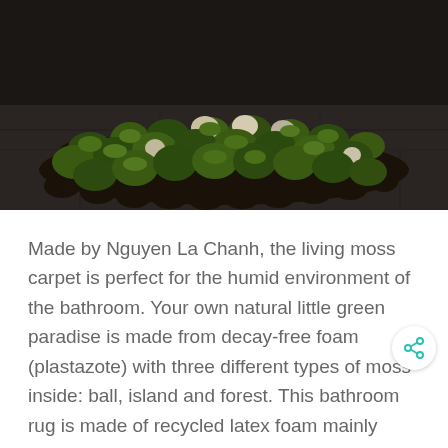[Figure (photo): A living moss carpet/rug on a dark tile bathroom floor, showing various types of green moss and some white/cream colored moss clusters arranged in a mat with wavy/scalloped edges. The background shows dark grey floor tiles.]
Made by Nguyen La Chanh, the living moss carpet is perfect for the humid environment of the bathroom. Your own natural little green paradise is made from decay-free foam (plastazote) with three different types of moss inside: ball, island and forest. This bathroom rug is made of recycled latex foam mainly coming from vegetal sources. […]